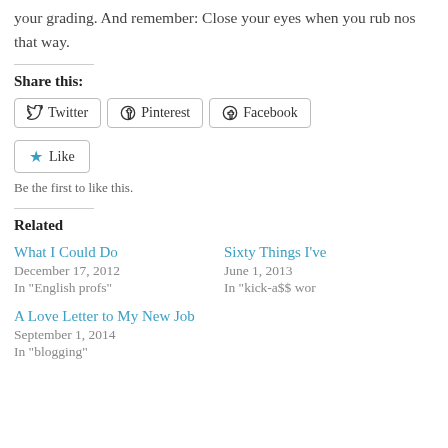your grading. And remember: Close your eyes when you rub nos that way.
Share this:
Twitter | Pinterest | Facebook
Like
Be the first to like this.
Related
What I Could Do
December 17, 2012
In "English profs"
Sixty Things I've
June 1, 2013
In "kick-a$$ wor
A Love Letter to My New Job
September 1, 2014
In "blogging"